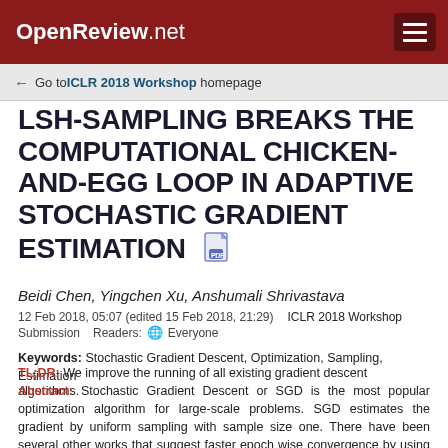OpenReview.net
Go to ICLR 2018 Workshop homepage
LSH-SAMPLING BREAKS THE COMPUTATIONAL CHICKEN-AND-EGG LOOP IN ADAPTIVE STOCHASTIC GRADIENT ESTIMATION
Beidi Chen, Yingchen Xu, Anshumali Shrivastava
12 Feb 2018, 05:07 (edited 15 Feb 2018, 21:29)   ICLR 2018 Workshop Submission   Readers: Everyone
Keywords: Stochastic Gradient Descent, Optimization, Sampling, Estimation
TL;DR: We improve the running of all existing gradient descent algorithms.
Abstract: Stochastic Gradient Descent or SGD is the most popular optimization algorithm for large-scale problems. SGD estimates the gradient by uniform sampling with sample size one. There have been several other works that suggest faster epoch wise convergence by using weighted non-uniform sampling for better gradient estimates. Unfortunately, the per-